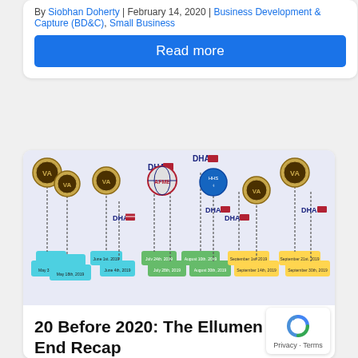By Siobhan Doherty | February 14, 2020 | Business Development & Capture (BD&C), Small Business
Read more
[Figure (infographic): Timeline infographic showing a series of government agency logos (Department of Veterans Affairs and DHA) on vertical dashed lines connected to colored date boxes, spanning dates from May 2019 through September 2019.]
20 Before 2020: The Ellumen Year-End Recap